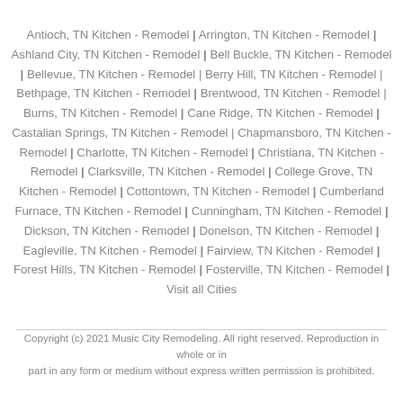Antioch, TN Kitchen - Remodel | Arrington, TN Kitchen - Remodel | Ashland City, TN Kitchen - Remodel | Bell Buckle, TN Kitchen - Remodel | Bellevue, TN Kitchen - Remodel | Berry Hill, TN Kitchen - Remodel | Bethpage, TN Kitchen - Remodel | Brentwood, TN Kitchen - Remodel | Burns, TN Kitchen - Remodel | Cane Ridge, TN Kitchen - Remodel | Castalian Springs, TN Kitchen - Remodel | Chapmansboro, TN Kitchen - Remodel | Charlotte, TN Kitchen - Remodel | Christiana, TN Kitchen - Remodel | Clarksville, TN Kitchen - Remodel | College Grove, TN Kitchen - Remodel | Cottontown, TN Kitchen - Remodel | Cumberland Furnace, TN Kitchen - Remodel | Cunningham, TN Kitchen - Remodel | Dickson, TN Kitchen - Remodel | Donelson, TN Kitchen - Remodel | Eagleville, TN Kitchen - Remodel | Fairview, TN Kitchen - Remodel | Forest Hills, TN Kitchen - Remodel | Fosterville, TN Kitchen - Remodel | Visit all Cities
Copyright (c) 2021 Music City Remodeling. All right reserved. Reproduction in whole or in part in any form or medium without express written permission is prohibited.